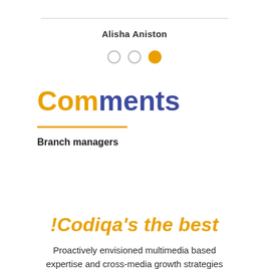Alisha Aniston
[Figure (illustration): Three dots pagination indicator: two empty circles and one filled gold circle]
Comments
Branch managers
!Codiqa's the best
Proactively envisioned multimedia based expertise and cross-media growth strategies